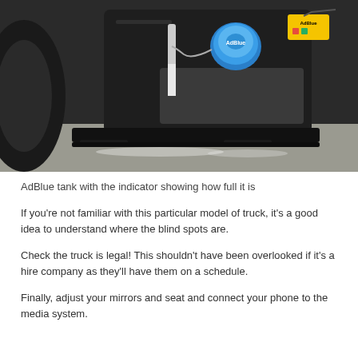[Figure (photo): Close-up photo of a black AdBlue tank mounted on a truck, showing a blue circular fill cap and a vertical white indicator strip showing the fluid level. The tank is mounted low with black mounting hardware visible at the bottom. Concrete ground visible below.]
AdBlue tank with the indicator showing how full it is
If you're not familiar with this particular model of truck, it's a good idea to understand where the blind spots are.
Check the truck is legal! This shouldn't have been overlooked if it's a hire company as they'll have them on a schedule.
Finally, adjust your mirrors and seat and connect your phone to the media system.